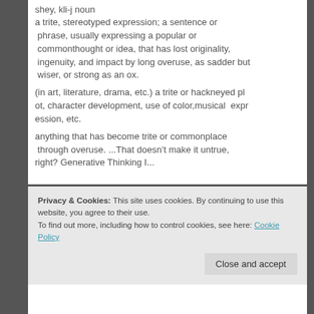shey, kli-j noun
a trite, stereotyped expression; a sentence or phrase, usually expressing a popular or commonthought or idea, that has lost originality, ingenuity, and impact by long overuse, as sadder but wiser, or strong as an ox.
(in art, literature, drama, etc.) a trite or hackneyed plot, character development, use of color,musical expression, etc.
anything that has become trite or commonplace through overuse. ...That doesn't make it untrue, right? Generative Thinking I...
Continue Reading →
Privacy & Cookies: This site uses cookies. By continuing to use this website, you agree to their use.
To find out more, including how to control cookies, see here: Cookie Policy
Close and accept